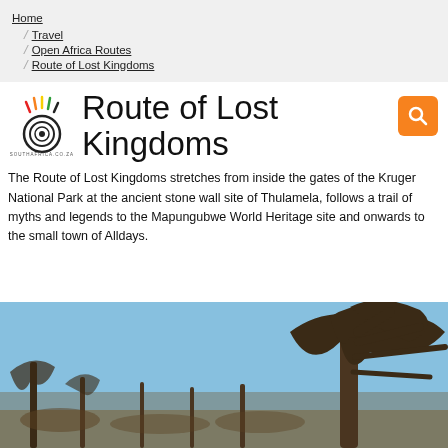Home / Travel / Open Africa Routes / Route of Lost Kingdoms
Route of Lost Kingdoms
The Route of Lost Kingdoms stretches from inside the gates of the Kruger National Park at the ancient stone wall site of Thulamela, follows a trail of myths and legends to the Mapungubwe World Heritage site and onwards to the small town of Alldays.
[Figure (photo): Baobab trees and sparse dry trees against a blue sky]